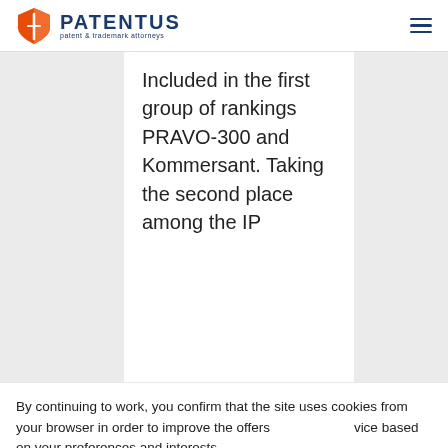PATENTUS patent & trademark attorneys
Included in the first group of rankings PRAVO-300 and Kommersant. Taking the second place among the IP
By continuing to work, you confirm that the site uses cookies from your browser in order to improve the offers vice based on your preferences and interests.
Agree
More details
Up